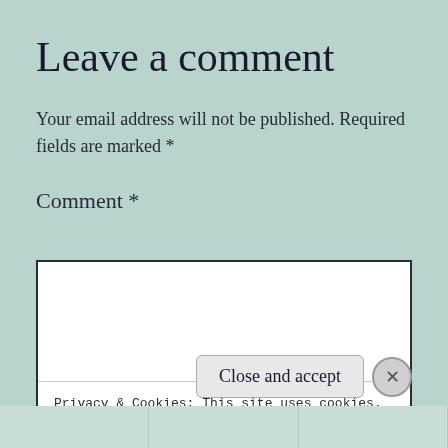Leave a comment
Your email address will not be published. Required fields are marked *
Comment *
[Figure (screenshot): White comment textarea box with border, containing a cookie notice: 'Privacy & Cookies: This site uses cookies. By continuing to use this website, you agree to their use. To find out more, including how to control cookies, see here: Cookie Policy'. A 'Close and accept' button and an X close button are visible at the bottom right.]